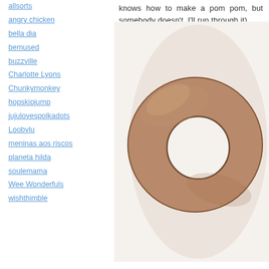knows how to make a pom pom, but somebody doesn't, I'll run through it)
allsorts
angry chicken
bella dia
bemused
buzzville
Charlotte Lyons
Chunkymonkey
hopskipjump
jujulovespolkadots
Loobylu
meninas aos riscos
planeta hilda
soulemama
Wee Wonderfuls
wishthimble
[Figure (photo): A cardboard donut/ring shape (pom pom template) viewed from above on a white background. The ring is made of brown cardboard with a circular hole cut in the center.]